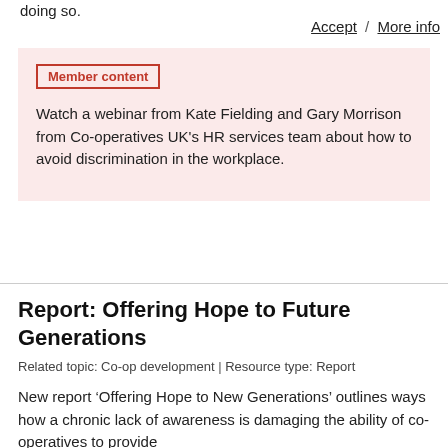doing so.
Accept / More info
Member content
Watch a webinar from Kate Fielding and Gary Morrison from Co-operatives UK's HR services team about how to avoid discrimination in the workplace.
Report: Offering Hope to Future Generations
Related topic: Co-op development | Resource type: Report
New report ‘Offering Hope to New Generations’ outlines ways how a chronic lack of awareness is damaging the ability of co-operatives to provide